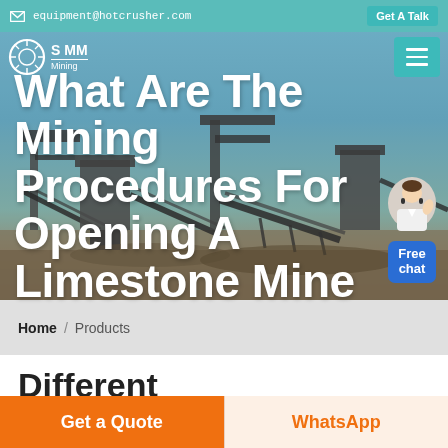equipment@hotcrusher.com   Get A Talk
[Figure (screenshot): Mining equipment / crushing plant facility with conveyor belts against a blue sky, serving as hero background image]
What Are The Mining Procedures For Opening A Limestone Mine
S MM Mining (logo with navigation hamburger menu)
[Figure (illustration): Customer service chat avatar with Free chat button]
Home / Products (breadcrumb)
Different
Get a Quote
WhatsApp